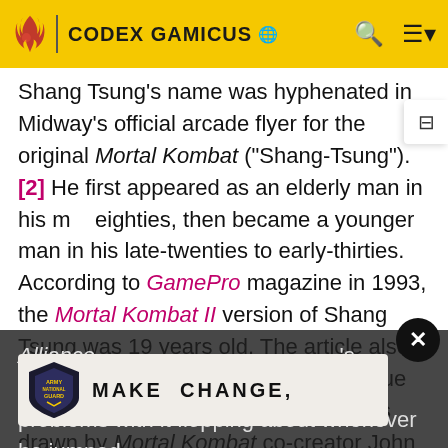CODEX GAMICUS
Shang Tsung's name was hyphenated in Midway's official arcade flyer for the original Mortal Kombat ("Shang-Tsung"). [2] He first appeared as an elderly man in his mid-eighties, then became a younger man in his late-twenties to early-thirties. According to GamePro magazine in 1993, the Mortal Kombat II version of Shang Tsung was 19 years old. The article also included a rough sketch of Tsung's "true form," a twisted demon. Though it was drawn by Mortal Kombat co-creator John Tobias, this form has never actually appeared in the video games. [3] In Deadly Alliance, Shang Tsung's long hair had potential problems with it flopping about whenever he jumped, which resulted in it being tied back into a ponytail.
[Figure (logo): Army National Guard logo with text MAKE CHANGE,]